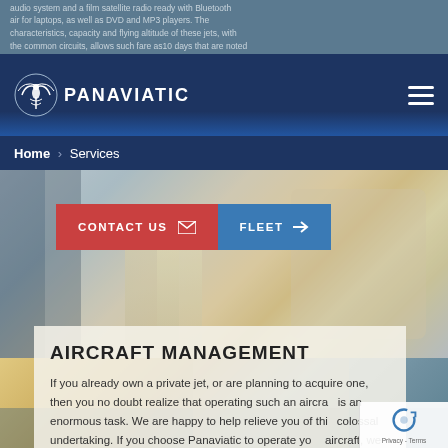PANAVIATIC
Home › Services
[Figure (photo): Luxury private jet interior with champagne glasses and elegant seating]
CONTACT US  FLEET
[Figure (photo): Poolside or waterside luxury lifestyle background photo]
AIRCRAFT MANAGEMENT
If you already own a private jet, or are planning to acquire one, then you no doubt realize that operating such an aircraft is an enormous task. We are happy to help relieve you of this colossal undertaking. If you choose Panaviatic to operate your aircraft, we will take care of all the essential tasks involved.